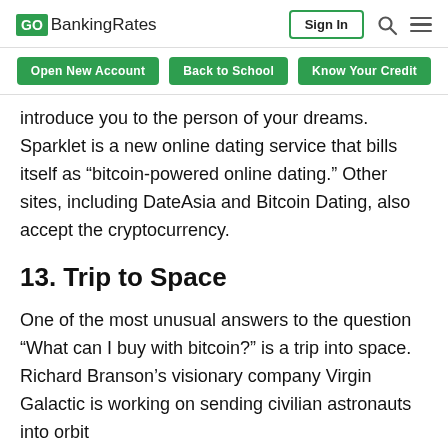GOBankingRates | Sign In
Open New Account | Back to School | Know Your Credit
introduce you to the person of your dreams. Sparklet is a new online dating service that bills itself as “bitcoin-powered online dating.” Other sites, including DateAsia and Bitcoin Dating, also accept the cryptocurrency.
13. Trip to Space
One of the most unusual answers to the question “What can I buy with bitcoin?” is a trip into space. Richard Branson’s visionary company Virgin Galactic is working on sending civilian astronauts into orbit